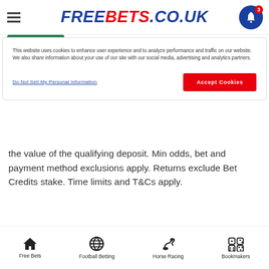FREEBETS.CO.UK
This website uses cookies to enhance user experience and to analyze performance and traffic on our website. We also share information about your use of our site with our social media, advertising and analytics partners.
Do Not Sell My Personal Information
Accept Cookies
the value of the qualifying deposit. Min odds, bet and payment method exclusions apply. Returns exclude Bet Credits stake. Time limits and T&Cs apply.
[Figure (logo): Paddy Power logo — green square with PP. text in white italic]
Paddy Power
Money Back in Cash Up to £20
claim
Free Bets · Football Betting · Horse Racing · Bookmakers